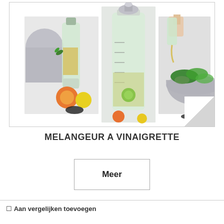[Figure (photo): Product photos of a vinaigrette mixer/blender shown in three panels: left panel shows a glass bottle with dressing and citrus fruits, middle panel shows a tall glass bottle with a metal lid, right panel shows dressing being poured into a metal bowl with salad and citrus fruits.]
MELANGEUR A VINAIGRETTE
Meer
☐ Aan vergelijken toevoegen